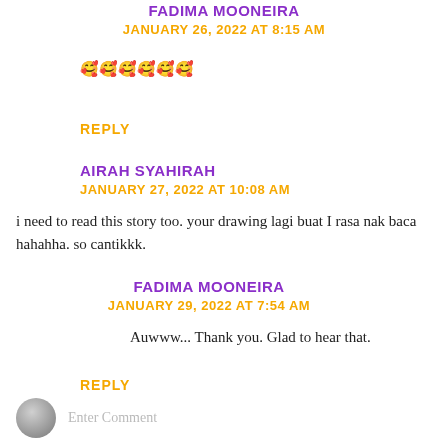FADIMA MOONEIRA
JANUARY 26, 2022 AT 8:15 AM
🥰🥰🥰🥰🥰🥰
REPLY
AIRAH SYAHIRAH
JANUARY 27, 2022 AT 10:08 AM
i need to read this story too. your drawing lagi buat I rasa nak baca hahahha. so cantikkk.
FADIMA MOONEIRA
JANUARY 29, 2022 AT 7:54 AM
Auwww... Thank you. Glad to hear that.
REPLY
Enter Comment